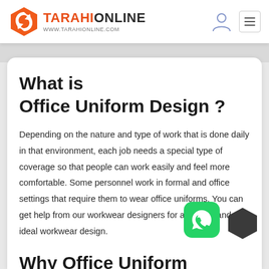TARAHIONLINE www.tarahionline.com
What is Office Uniform Design ?
Depending on the nature and type of work that is done daily in that environment, each job needs a special type of coverage so that people can work easily and feel more comfortable. Some personnel work in formal and office settings that require them to wear office uniforms. You can get help from our workwear designers for a special and ideal workwear design.
Why Office Uniform Design is important ?